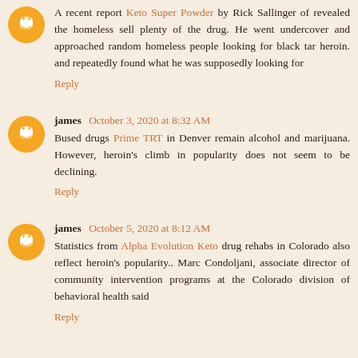A recent report Keto Super Powder by Rick Sallinger of revealed the homeless sell plenty of the drug. He went undercover and approached random homeless people looking for black tar heroin. and repeatedly found what he was supposedly looking for
Reply
james  October 3, 2020 at 8:32 AM
Bused drugs Prime TRT in Denver remain alcohol and marijuana. However, heroin's climb in popularity does not seem to be declining.
Reply
james  October 5, 2020 at 8:12 AM
Statistics from Alpha Evolution Keto drug rehabs in Colorado also reflect heroin's popularity.. Marc Condoljani, associate director of community intervention programs at the Colorado division of behavioral health said
Reply